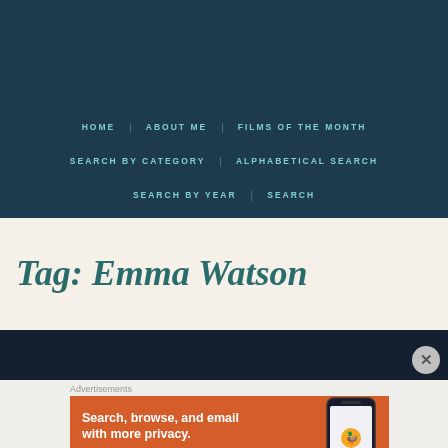HOME
ABOUT ME
FILMS OF THE MONTH
SEARCH BY CATEGORY
ALPHABETICAL SEARCH
SEARCH BY YEAR
SEARCH
Tag: Emma Watson
[Figure (screenshot): Advertisement banner: DuckDuckGo app ad with text 'Search, browse, and email with more privacy.' on orange background with phone mockup]
Advertisements